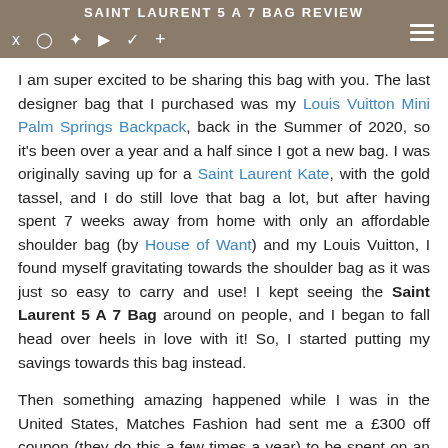SAINT LAURENT 5 A 7 BAG REVIEW
I am super excited to be sharing this bag with you. The last designer bag that I purchased was my Louis Vuitton Mini Palm Springs Backpack, back in the Summer of 2020, so it's been over a year and a half since I got a new bag. I was originally saving up for a Saint Laurent Kate, with the gold tassel, and I do still love that bag a lot, but after having spent 7 weeks away from home with only an affordable shoulder bag (by House of Want) and my Louis Vuitton, I found myself gravitating towards the shoulder bag as it was just so easy to carry and use! I kept seeing the Saint Laurent 5 A 7 Bag around on people, and I began to fall head over heels in love with it! So, I started putting my savings towards this bag instead.
Then something amazing happened while I was in the United States, Matches Fashion had sent me a £300 off coupon (they do this a few times a year) to be spent on an order over £1000. The Saint Laurent 5 A 7 was actually sold out on their website though, so I got in